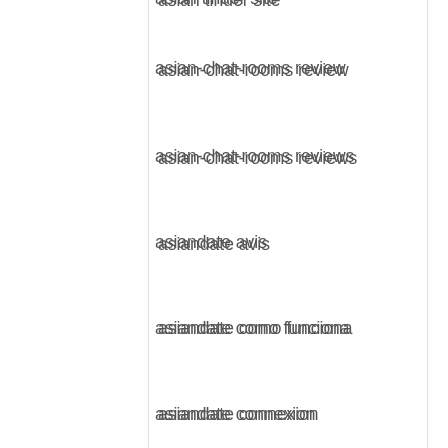asian tinder site
asian-chat-rooms review
asian-chat-rooms reviews
asiandate avis
asiandate como funciona
asiandate connexion
asiandate gratis
asiandate italia
asiandate review
asiandate seiten
asiandate visitors
asiandate-inceleme visitors
asiandate-recenze Seznamka